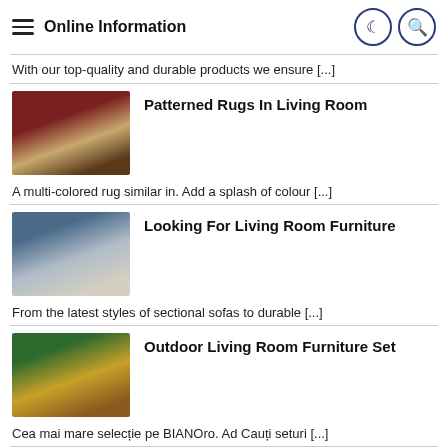Online Information
With our top-quality and durable products we ensure [...]
[Figure (photo): Interior photo of a living room with a dark red/maroon patterned rug]
Patterned Rugs In Living Room
A multi-colored rug similar in. Add a splash of colour [...]
[Figure (photo): Interior photo of a living room with white furniture and a sofa set]
Looking For Living Room Furniture
From the latest styles of sectional sofas to durable [...]
[Figure (photo): Outdoor living room furniture set with wicker chairs and green cushions]
Outdoor Living Room Furniture Set
Cea mai mare selecție pe BIANOro. Ad Cauți seturi [...]
[Figure (photo): Collage of area rugs in various sizes and patterns]
How To Size An Area Rug In A Living Room